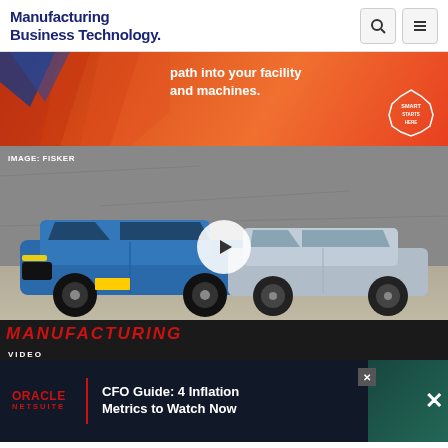Manufacturing Business Technology
[Figure (photo): Orange/red advertisement banner with geometric shapes, text 'path into your facility and machines.' and a Smart Starts Here badge]
[Figure (photo): Fisker electric SUV vehicles in blue and silver, desert background, with play button overlay. Caption: IMAGE: FISKER]
[Figure (infographic): Oracle NetSuite advertisement: CFO Guide: 4 Inflation Metrics to Watch Now]